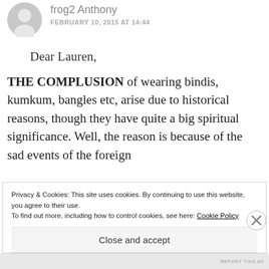[Figure (illustration): Grey circular avatar/silhouette icon of a person, partially cropped at top]
frog2 Anthony
FEBRUARY 10, 2015 AT 14:44
Dear Lauren,
THE COMPLUSION of wearing bindis, kumkum, bangles etc, arise due to historical reasons, though they have quite a big spiritual significance. Well, the reason is because of the sad events of the foreign
Privacy & Cookies: This site uses cookies. By continuing to use this website, you agree to their use.
To find out more, including how to control cookies, see here: Cookie Policy
Close and accept